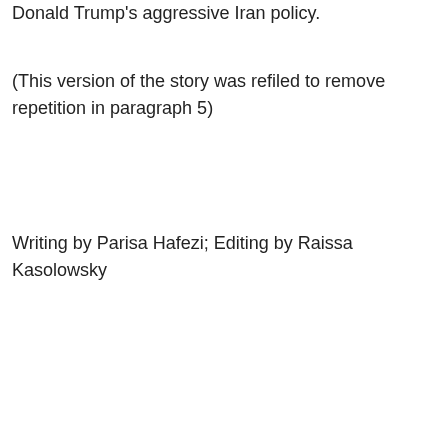Donald Trump's aggressive Iran policy.
(This version of the story was refiled to remove repetition in paragraph 5)
Writing by Parisa Hafezi; Editing by Raissa Kasolowsky